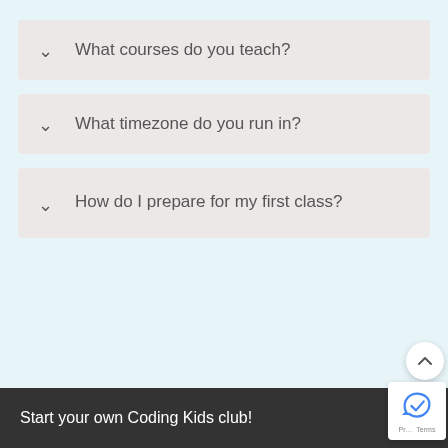What courses do you teach?
What timezone do you run in?
How do I prepare for my first class?
Start your own Coding Kids club!